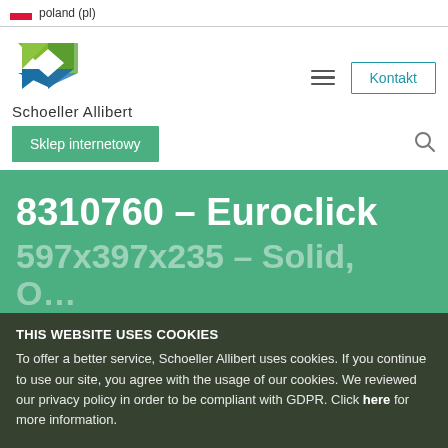poland (pl)
[Figure (logo): Schoeller Allibert logo — diamond/arrow shape in green and blue]
Schoeller Allibert
Sklep internetowy
Kontakt
8310760 – Euroclick
597x397x235 – Solid, O…
THIS WEBSITE USES COOKIES
To offer a better service, Schoeller Allibert uses cookies. If you continue to use our site, you agree with the usage of our cookies. We reviewed our privacy policy in order to be compliant with GDPR. Click here for more information.